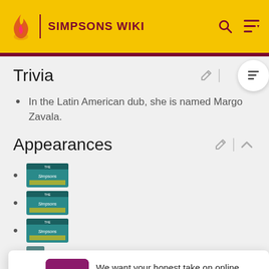SIMPSONS WIKI
Trivia
In the Latin American dub, she is named Margo Zavala.
Appearances
[Figure (screenshot): Three thumbnail images of Simpsons episode/game entries in an appearances list]
[Figure (infographic): Survey popup overlay: 'We want your honest take on online discussions' with 'SURVEY: ONLINE FORUMS' link]